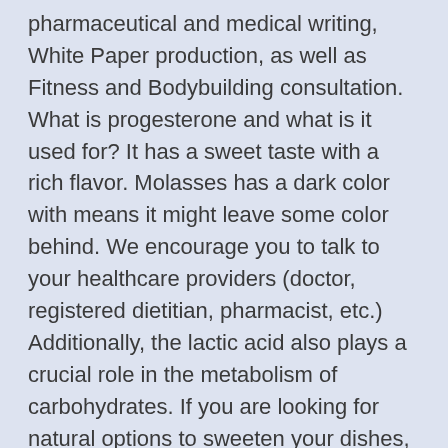pharmaceutical and medical writing, White Paper production, as well as Fitness and Bodybuilding consultation. What is progesterone and what is it used for? It has a sweet taste with a rich flavor. Molasses has a dark color with means it might leave some color behind. We encourage you to talk to your healthcare providers (doctor, registered dietitian, pharmacist, etc.) Additionally, the lactic acid also plays a crucial role in the metabolism of carbohydrates. If you are looking for natural options to sweeten your dishes, drinks and desserts, especially when replacing the unhealthy white sugar, especially noteworthy is the panela as the molasses cane. It also helps strengthen the immune system, mainta... Why do a medical checkup before playing sports? It contains chromium that reduces the risk of developing diabetes, high cholesterol levels, and heart troubles. It benefits your bones, blood, and even hair. Use molasses as a natural sweetener for smoothies and milkshakes. We find in it the following essential nutrients: Do not you think they are interesting benefits and nutritional properties to replace white sugar, saccharin or aspartame in your diet ?. Both conditions